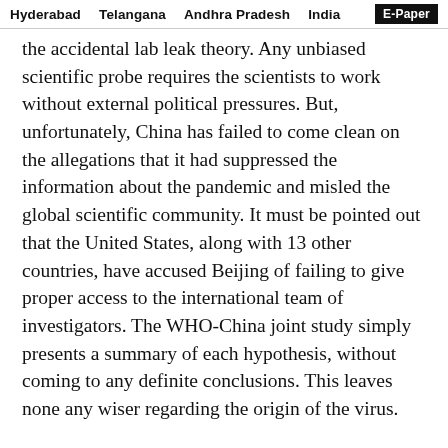Hyderabad   Telangana   Andhra Pradesh   India   E-Paper
the accidental lab leak theory. Any unbiased scientific probe requires the scientists to work without external political pressures. But, unfortunately, China has failed to come clean on the allegations that it had suppressed the information about the pandemic and misled the global scientific community. It must be pointed out that the United States, along with 13 other countries, have accused Beijing of failing to give proper access to the international team of investigators. The WHO-China joint study simply presents a summary of each hypothesis, without coming to any definite conclusions. This leaves none any wiser regarding the origin of the virus.
There have been allegations that China tried to cover up instances of the Covid-19 infection